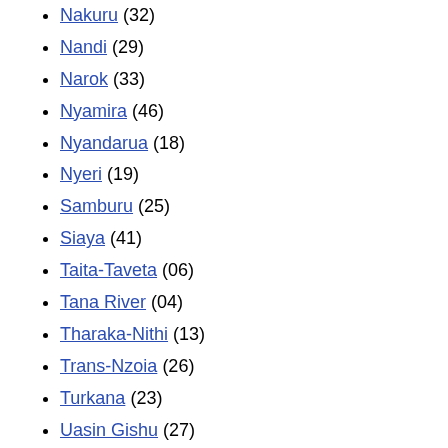Nakuru (32)
Nandi (29)
Narok (33)
Nyamira (46)
Nyandarua (18)
Nyeri (19)
Samburu (25)
Siaya (41)
Taita-Taveta (06)
Tana River (04)
Tharaka-Nithi (13)
Trans-Nzoia (26)
Turkana (23)
Uasin Gishu (27)
Vihiga (38)
Wajir (08)
West Pokot (24)
Nairobi (capital)
Athi River
Baragoi
Bomet
Bungoma
Busia
Chuka